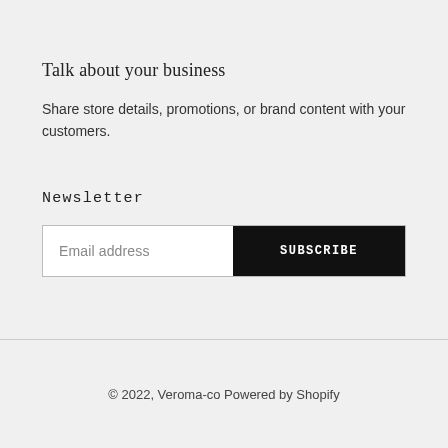Talk about your business
Share store details, promotions, or brand content with your customers.
Newsletter
Email address  SUBSCRIBE
© 2022, Veroma-co Powered by Shopify